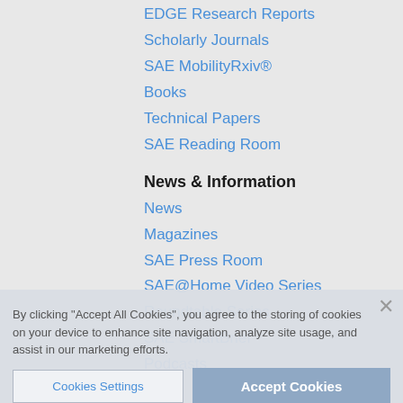EDGE Research Reports
Scholarly Journals
SAE MobilityRxiv®
Books
Technical Papers
SAE Reading Room
News & Information
News
Magazines
SAE Press Room
SAE@Home Video Series
Roundtable Series
SAE SmartBrief
Podcasts
Video
Events
SAE Events
Demo Days
Student Events
Education
Professional Development
By clicking "Accept All Cookies", you agree to the storing of cookies on your device to enhance site navigation, analyze site usage, and assist in our marketing efforts.